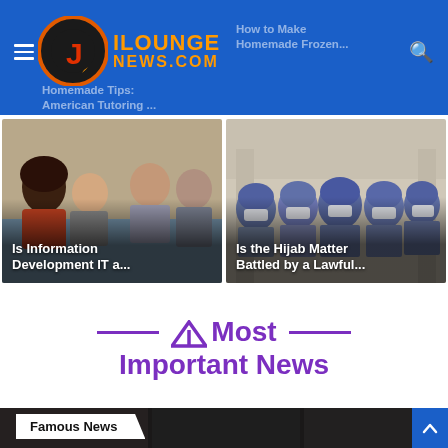[Figure (logo): iLoungeNews.com logo with crescent moon and J letter icon in orange/red on blue header bar]
Homemade Tips: American Tutoring...
How to Make Homemade Frozen...
[Figure (photo): Group of people sitting together looking at a tablet or document in an office/casual setting]
Is Information Development IT a...
[Figure (photo): Group of women wearing hijabs and face masks standing in a hallway]
Is the Hijab Matter Battled by a Lawful...
⌂ Most Important News
[Figure (photo): Dark image strip at bottom showing beginning of a news section]
Famous News